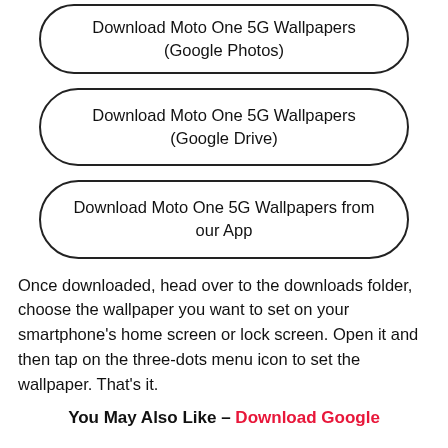Download Moto One 5G Wallpapers (Google Photos)
Download Moto One 5G Wallpapers (Google Drive)
Download Moto One 5G Wallpapers from our App
Once downloaded, head over to the downloads folder, choose the wallpaper you want to set on your smartphone's home screen or lock screen. Open it and then tap on the three-dots menu icon to set the wallpaper. That's it.
You May Also Like – Download Google